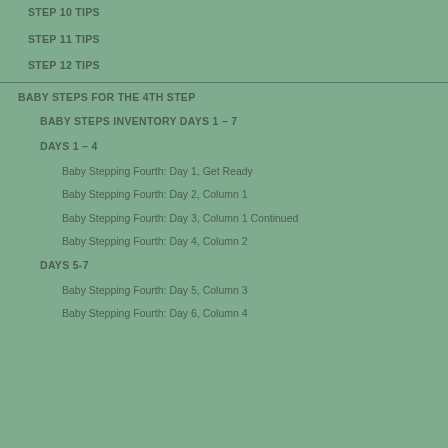STEP 10 TIPS
STEP 11 TIPS
STEP 12 TIPS
BABY STEPS FOR THE 4TH STEP
BABY STEPS INVENTORY DAYS 1 – 7
DAYS 1 – 4
Baby Stepping Fourth: Day 1, Get Ready
Baby Stepping Fourth: Day 2, Column 1
Baby Stepping Fourth: Day 3, Column 1 Continued
Baby Stepping Fourth: Day 4, Column 2
DAYS 5-7
Baby Stepping Fourth: Day 5, Column 3
Baby Stepping Fourth: Day 6, Column 4